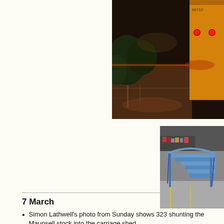[Figure (photo): Night-time photo of a railway platform with a yellow/orange train visible on the right side with red rear lights glowing, bushes on the left, wet platform surface reflecting light.]
[Figure (photo): Indoor workshop or shed photo showing blue metal benches or railing frames leaning against each other on a concrete floor, with shelves of supplies visible in the background.]
7 March
Simon Lathwell's photo from Sunday shows 323 shunting the Maunsell stock into the carriage shed.